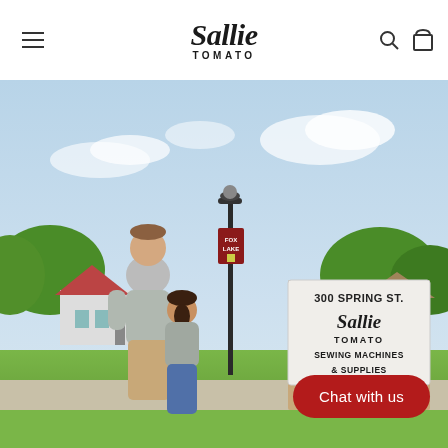Sallie Tomato
[Figure (photo): Outdoor photo of a couple standing in front of a Sallie Tomato store sign at 300 Spring St. The sign reads: 300 SPRING ST. / Sallie Tomato / SEWING MACHINES & SUPPLIES. A Fox Lake street banner is visible on a lamp post in the background. Suburban neighborhood with trees and houses visible.]
Chat with us